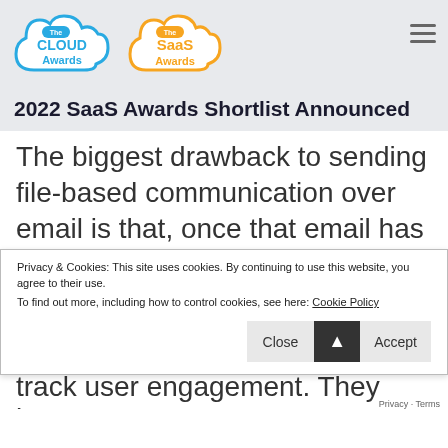[Figure (logo): The Cloud Awards logo — blue cloud outline with 'The CLOUD Awards' text in blue]
[Figure (logo): The SaaS Awards logo — orange cloud outline with 'The SaaS Awards' text in orange]
2022 SaaS Awards Shortlist Announced
The biggest drawback to sending file-based communication over email is that, once that email has left your mailbox, you have no idea what happens next.
Privacy & Cookies: This site uses cookies. By continuing to use this website, you agree to their use.
To find out more, including how to control cookies, see here: Cookie Policy
track user engagement. They know w